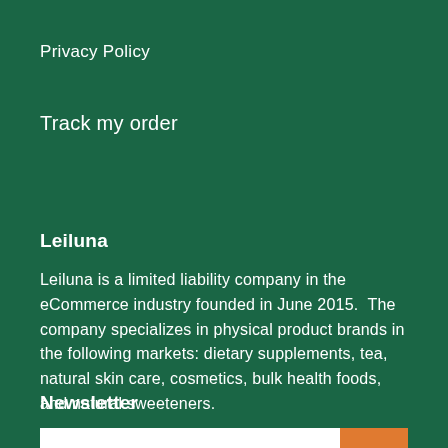Privacy Policy
Track my order
Leiluna
Leiluna is a limited liability company in the eCommerce industry founded in June 2015.  The company specializes in physical product brands in the following markets: dietary supplements, tea, natural skin care, cosmetics, bulk health foods, and natural sweeteners.
Newsletter